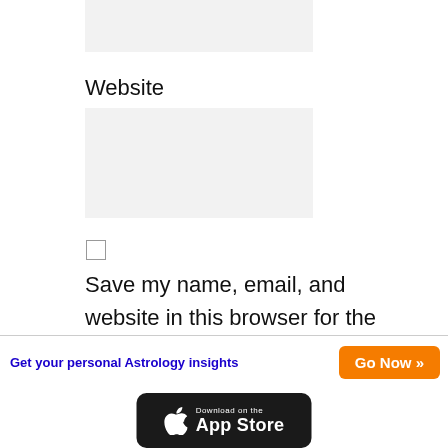[Figure (screenshot): Gray input field box at top of page]
Website
[Figure (screenshot): Gray input field box for website]
[Figure (screenshot): Checkbox element (unchecked)]
Save my name, email, and website in this browser for the next time I comment.
Get your personal Astrology insights
Go Now »
[Figure (logo): Download on the App Store badge]